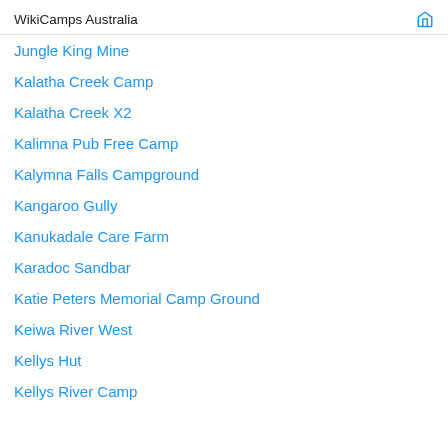WikiCamps Australia
Jungle King Mine
Kalatha Creek Camp
Kalatha Creek X2
Kalimna Pub Free Camp
Kalymna Falls Campground
Kangaroo Gully
Kanukadale Care Farm
Karadoc Sandbar
Katie Peters Memorial Camp Ground
Keiwa River West
Kellys Hut
Kellys River Camp